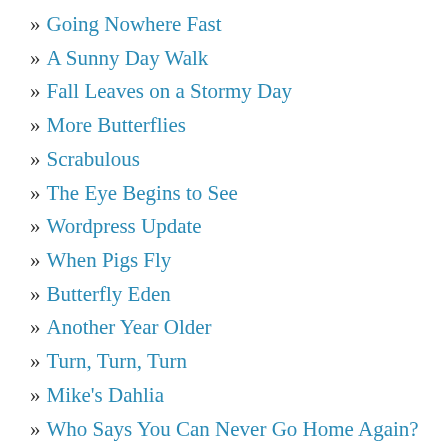» Going Nowhere Fast
» A Sunny Day Walk
» Fall Leaves on a Stormy Day
» More Butterflies
» Scrabulous
» The Eye Begins to See
» Wordpress Update
» When Pigs Fly
» Butterfly Eden
» Another Year Older
» Turn, Turn, Turn
» Mike's Dahlia
» Who Says You Can Never Go Home Again?
» Denver Zoo
» Rocky Mountain National Park